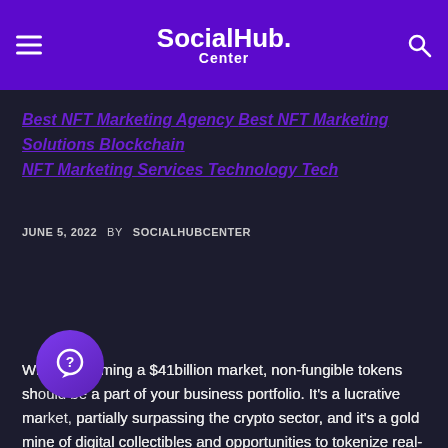SocialHub. Center
Best NFT Marketing Agency  Best NFT Marketing Solutions  Blockchain  NFT Marketing Services  Technology  Tech
JUNE 5, 2022  BY SOCIALHUBCENTER
With it becoming a $41billion market, non-fungible tokens should be a part of your business portfolio. It's a lucrative market, partially surpassing the crypto sector, and it's a gold mine of digital collectibles and opportunities to tokenize real-